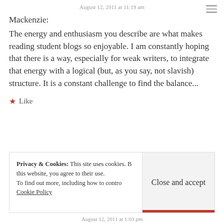August 12, 2011 at 11:19 am
Mackenzie:
The energy and enthusiasm you describe are what makes reading student blogs so enjoyable. I am constantly hoping that there is a way, especially for weak writers, to integrate that energy with a logical (but, as you say, not slavish) structure. It is a constant challenge to find the balance...
★ Like
Privacy & Cookies: This site uses cookies. By continuing to use this website, you agree to their use. To find out more, including how to control cookies, see here: Cookie Policy
Close and accept
August 12, 2011 at 1:03 pm